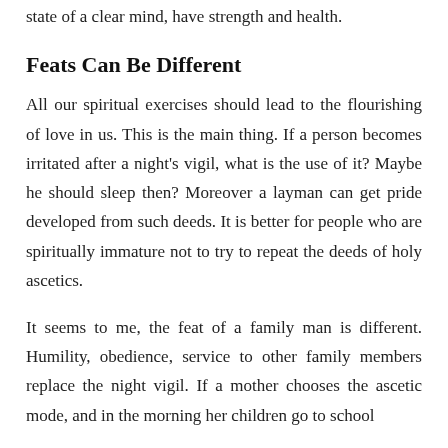state of a clear mind, have strength and health.
Feats Can Be Different
All our spiritual exercises should lead to the flourishing of love in us. This is the main thing. If a person becomes irritated after a night’s vigil, what is the use of it? Maybe he should sleep then? Moreover a layman can get pride developed from such deeds. It is better for people who are spiritually immature not to try to repeat the deeds of holy ascetics.
It seems to me, the feat of a family man is different. Humility, obedience, service to other family members replace the night vigil. If a mother chooses the ascetic mode, and in the morning her children go to school